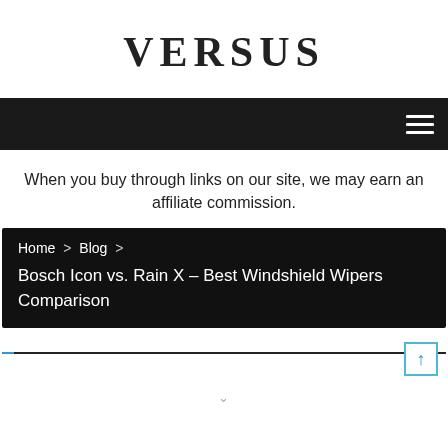VERSUS
[Figure (other): Dark navigation bar with hamburger menu icon (three horizontal white lines) on the right]
When you buy through links on our site, we may earn an affiliate commission.
Home > Blog > Bosch Icon vs. Rain X – Best Windshield Wipers Comparison
[Figure (other): Scroll progress bar with a blue segment at the left and a square button with an upward arrow on the right]